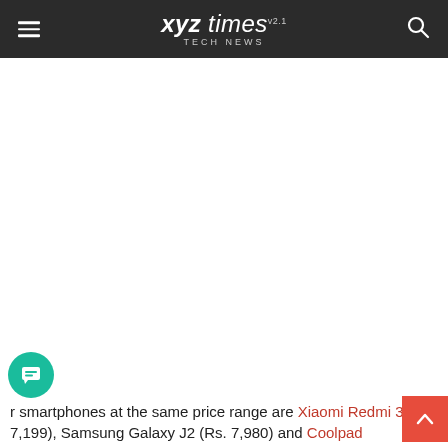xyz times v2.1 TECH NEWS
r smartphones at the same price range are Xiaomi Redmi 3 (Rs. 7,199), Samsung Galaxy J2 (Rs. 7,980) and Coolpad